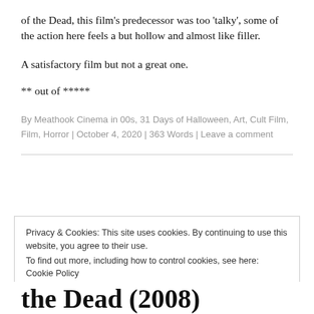of the Dead, this film's predecessor was too 'talky', some of the action here feels a but hollow and almost like filler.
A satisfactory film but not a great one.
** out of *****
By Meathook Cinema in 00s, 31 Days of Halloween, Art, Cult Film, Film, Horror | October 4, 2020 | 363 Words | Leave a comment
Privacy & Cookies: This site uses cookies. By continuing to use this website, you agree to their use.
To find out more, including how to control cookies, see here: Cookie Policy
Close and accept
the Dead (2008)